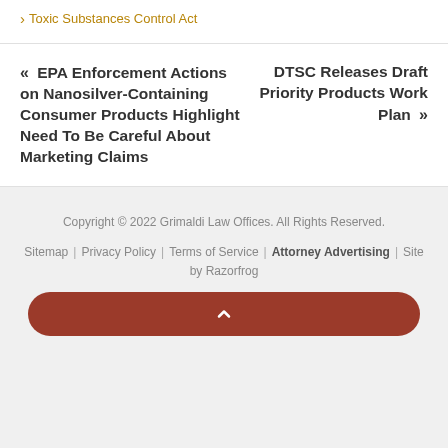Toxic Substances Control Act
« EPA Enforcement Actions on Nanosilver-Containing Consumer Products Highlight Need To Be Careful About Marketing Claims
DTSC Releases Draft Priority Products Work Plan »
Copyright © 2022 Grimaldi Law Offices. All Rights Reserved. Sitemap | Privacy Policy | Terms of Service | Attorney Advertising | Site by Razorfrog